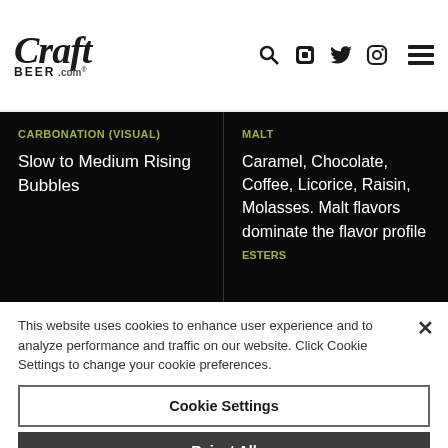[Figure (logo): CraftBeer.com logo with search, Facebook, Twitter, Instagram icons and hamburger menu]
CARBONATION (VISUAL)
Slow to Medium Rising Bubbles
MALT
Caramel, Chocolate, Coffee, Licorice, Raisin, Molasses. Malt flavors dominate the flavor profile
This website uses cookies to enhance user experience and to analyze performance and traffic on our website. Click Cookie Settings to change your cookie preferences.
Cookie Settings
Reject All
Accept All Cookies